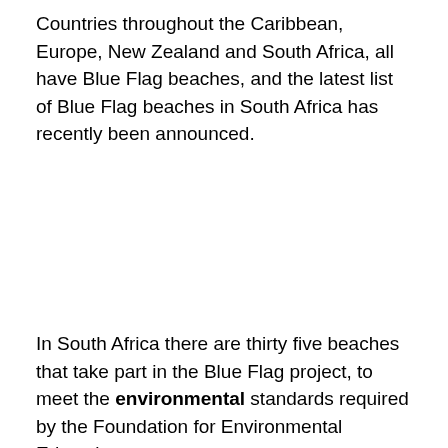Countries throughout the Caribbean, Europe, New Zealand and South Africa, all have Blue Flag beaches, and the latest list of Blue Flag beaches in South Africa has recently been announced.
In South Africa there are thirty five beaches that take part in the Blue Flag project, to meet the environmental standards required by the Foundation for Environmental Education